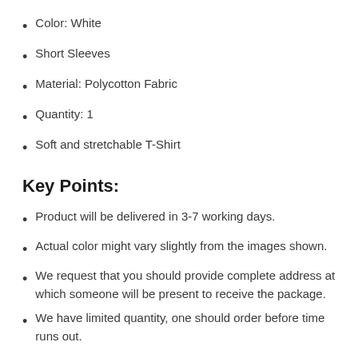Color: White
Short Sleeves
Material: Polycotton Fabric
Quantity: 1
Soft and stretchable T-Shirt
Key Points:
Product will be delivered in 3-7 working days.
Actual color might vary slightly from the images shown.
We request that you should provide complete address at which someone will be present to receive the package.
We have limited quantity, one should order before time runs out.